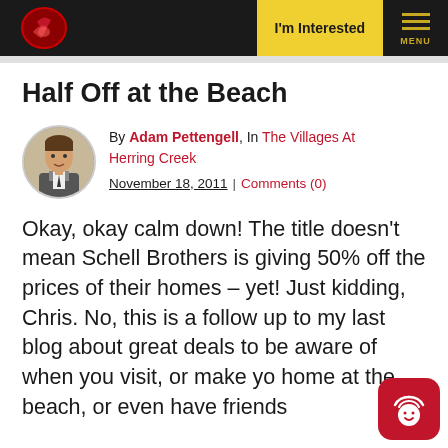I'm Interested | MENU
Half Off at the Beach
By Adam Pettengell, In The Villages At Herring Creek
November 18, 2011 | Comments (0)
Okay, okay calm down! The title doesn't mean Schell Brothers is giving 50% off the prices of their homes – yet! Just kidding, Chris. No, this is a follow up to my last blog about great deals to be aware of when you visit, or make your home at the beach, or even have friends